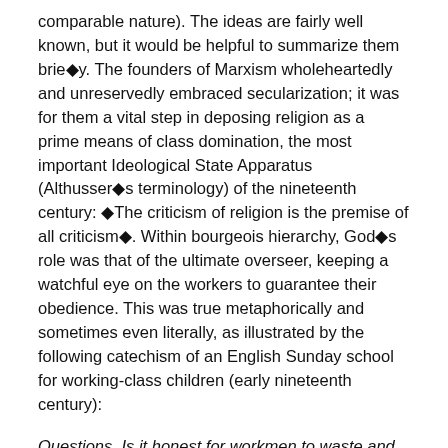comparable nature). The ideas are fairly well known, but it would be helpful to summarize them brie�y. The founders of Marxism wholeheartedly and unreservedly embraced secularization; it was for them a vital step in deposing religion as a prime means of class domination, the most important Ideological State Apparatus (Althusser�s terminology) of the nineteenth century: �The criticism of religion is the premise of all criticism�. Within bourgeois hierarchy, God�s role was that of the ultimate overseer, keeping a watchful eye on the workers to guarantee their obedience. This was true metaphorically and sometimes even literally, as illustrated by the following catechism of an English Sunday school for working-class children (early nineteenth century):
Questions. Is it honest for workmen to waste and destroy the materials and implements which they make use of? (Ans. No.) Who do these things belong to? (Ans. Their master.) Whose eyes see you when your master is not by? (Ans. God�s.) Who sees people when they are pilfering tea